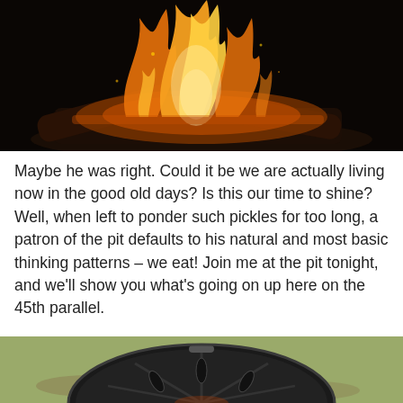[Figure (photo): Close-up photograph of a wood fire with bright orange and yellow flames against a dark background, logs visible beneath the flames.]
Maybe he was right. Could it be we are actually living now in the good old days? Is this our time to shine? Well, when left to ponder such pickles for too long, a patron of the pit defaults to his natural and most basic thinking patterns – we eat! Join me at the pit tonight, and we'll show you what's going on up here on the 45th parallel.
[Figure (photo): Partial photograph showing the top of a black round kettle grill on a grass/dirt surface, viewed from above.]